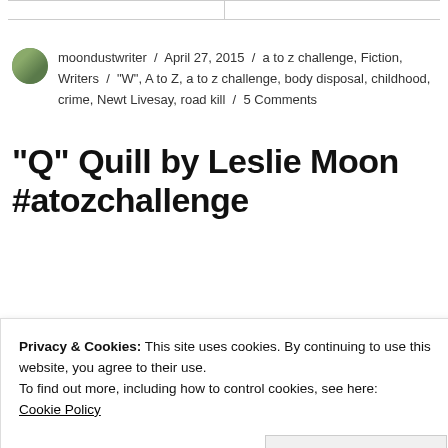moondustwriter / April 27, 2015 / a to z challenge, Fiction, Writers / "W", A to Z, a to z challenge, body disposal, childhood, crime, Newt Livesay, road kill / 5 Comments
“Q” Quill by Leslie Moon #atozchallenge
Privacy & Cookies: This site uses cookies. By continuing to use this website, you agree to their use.
To find out more, including how to control cookies, see here:
Cookie Policy
Close and accept